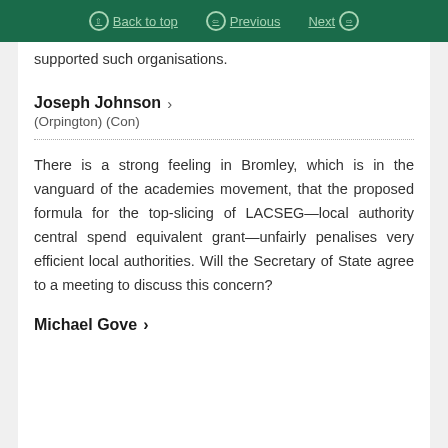Back to top | Previous | Next
supported such organisations.
Joseph Johnson > (Orpington) (Con)
There is a strong feeling in Bromley, which is in the vanguard of the academies movement, that the proposed formula for the top-slicing of LACSEG—local authority central spend equivalent grant—unfairly penalises very efficient local authorities. Will the Secretary of State agree to a meeting to discuss this concern?
Michael Gove >